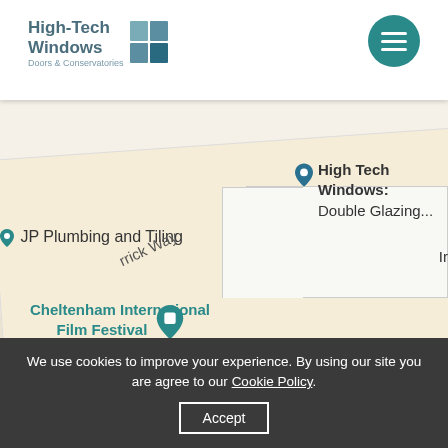[Figure (logo): High-Tech Windows Doors & Conservatories logo with teal/slate blue geometric window icon]
[Figure (screenshot): Google Maps screenshot showing location of High Tech Windows: Double Glazing with map pins for nearby businesses including JP Plumbing and Tiling and Cheltenham International Film Festival. Streets labeled Herrick Way visible.]
We use cookies to improve your experience. By using our site you are agree to our Cookie Policy. Accept